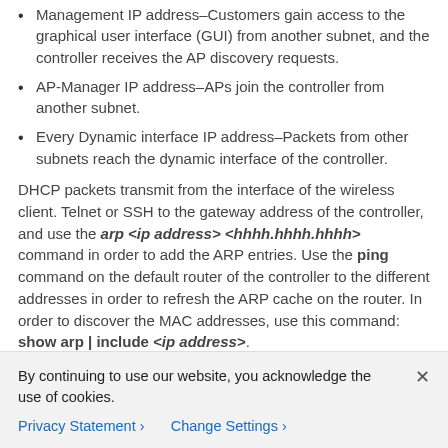Management IP address–Customers gain access to the graphical user interface (GUI) from another subnet, and the controller receives the AP discovery requests.
AP-Manager IP address–APs join the controller from another subnet.
Every Dynamic interface IP address–Packets from other subnets reach the dynamic interface of the controller.
DHCP packets transmit from the interface of the wireless client. Telnet or SSH to the gateway address of the controller, and use the arp <ip address> <hhhh.hhhh.hhhh> command in order to add the ARP entries. Use the ping command on the default router of the controller to the different addresses in order to refresh the ARP cache on the router. In order to discover the MAC addresses, use this command: show arp | include <ip address>.
By continuing to use our website, you acknowledge the use of cookies.
Privacy Statement > Change Settings >